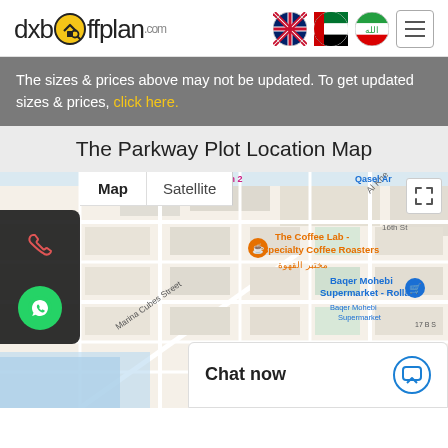dxboffplan.com
The sizes & prices above may not be updated. To get updated sizes & prices, click here.
The Parkway Plot Location Map
[Figure (map): Google Map showing location near Dubai Customs, The Coffee Lab Specialty Coffee Roasters, Baqer Mohebi Supermarket Rolla, Marina Cubes Street, AL RAFFA area. A red location pin marks the site. Map and Satellite toggle shown at top left.]
Chat now